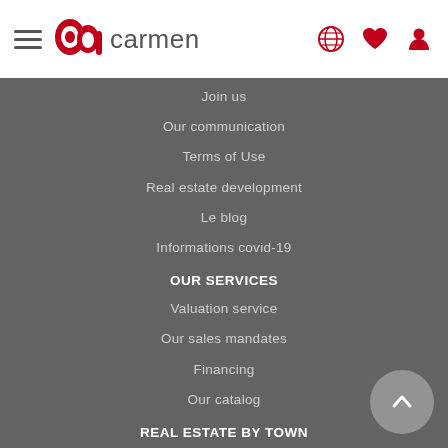[Figure (logo): Carmen real estate logo with stylized 'ca' icon in red and 'carmen' text in grey, plus hamburger menu icon on left and globe, heart, user icons on right]
Join us
Our communication
Terms of Use
Real estate development
Le blog
Informations covid-19
OUR SERVICES
Valuation service
Our sales mandates
Financing
Our catalog
REAL ESTATE BY TOWN
REAL ESTATE BASQUE COAST
Anglet
Bayonne
Biarritz